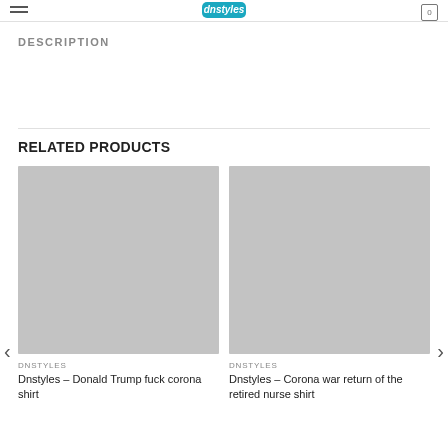DESCRIPTION
RELATED PRODUCTS
[Figure (photo): Product image placeholder (gray rectangle) for Dnstyles Donald Trump shirt]
DNSTYLES
Dnstyles – Donald Trump fuck corona shirt
[Figure (photo): Product image placeholder (gray rectangle) for Dnstyles Corona war return shirt]
DNSTYLES
Dnstyles – Corona war return of the retired nurse shirt